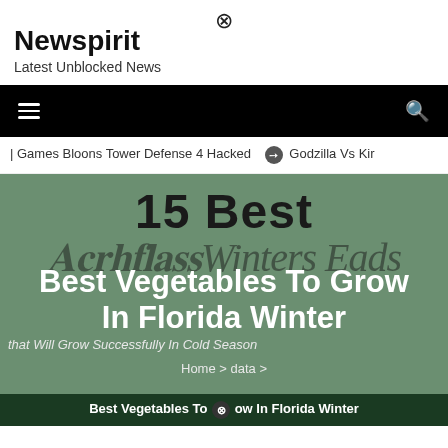⊗
Newspirit
Latest Unblocked News
[Figure (screenshot): Black navigation bar with hamburger menu icon on the left and search icon on the right]
| Games Bloons Tower Defense 4 Hacked   ➔ Godzilla Vs Kir
[Figure (illustration): Green hero banner with overlapping text: '15 Best' in large bold black letters, cursive script overlay, bold white text 'Best Vegetables To Grow In Florida Winter', italic subtitle 'that Will Grow Successfully In Cold Season', breadcrumb 'Home > data >']
Best Vegetables To ⊗ow In Florida Winter